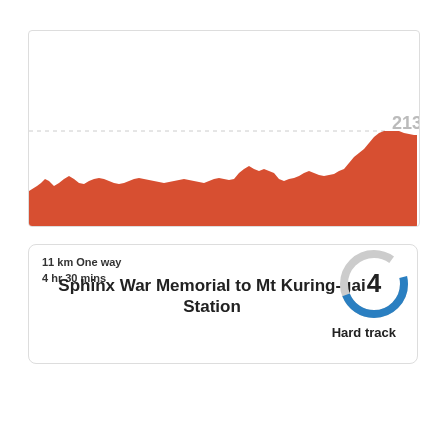[Figure (area-chart): Elevation profile from 1m to 213m showing mostly flat terrain with a steep climb at the end]
11 km One way
4 hr 30 mins
Sphinx War Memorial to Mt Kuring-gai Station
4
Hard track